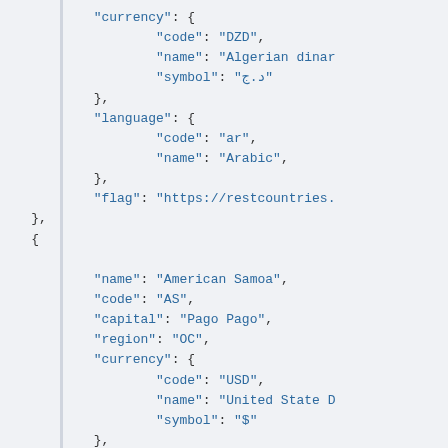"currency": {
        "code": "DZD",
        "name": "Algerian dinar
        "symbol": "د.ج"
},
"language": {
        "code": "ar",
        "name": "Arabic",
},
"flag": "https://restcountries.
},
{
"name": "American Samoa",
"code": "AS",
"capital": "Pago Pago",
"region": "OC",
"currency": {
        "code": "USD",
        "name": "United State D
        "symbol": "$"
},
"language": {
        "code": "en",
        "name": "English",
},
"flag": "https://restcountries.